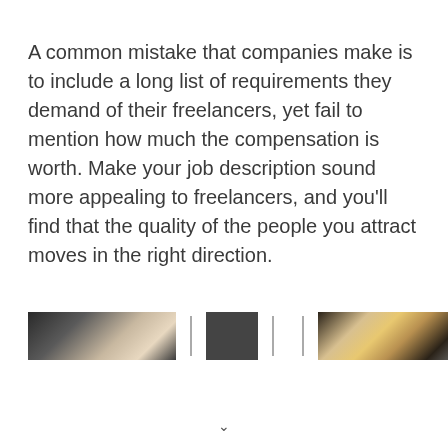A common mistake that companies make is to include a long list of requirements they demand of their freelancers, yet fail to mention how much the compensation is worth. Make your job description sound more appealing to freelancers, and you'll find that the quality of the people you attract moves in the right direction.
[Figure (photo): A horizontal strip showing partial photos of office/work scenes separated by vertical dividers: a photo strip on the left, a dark square in the center, and another photo strip on the right.]